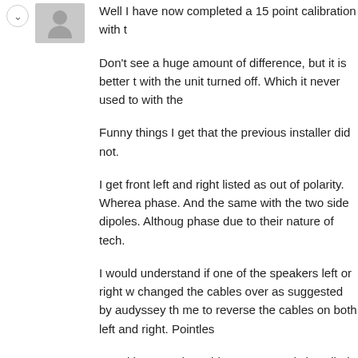Well I have now completed a 15 point calibration with t
Don't see a huge amount of difference, but it is better t with the unit turned off. Which it never used to with the
Funny things I get that the previous installer did not.
I get front left and right listed as out of polarity. Wherea phase. And the same with the two side dipoles. Althoug phase due to their nature of tech.
I would understand if one of the speakers left or right w changed the cables over as suggested by audyssey th me to reverse the cables on both left and right. Pointles
But either way the cables are correctly installed.
Here is the certificate page for you to view if you like
http://installer.audyssey.com/Installer/ViewCertificate.a
Note the right side is now listed at 130 cross over and to 100 as apposed to 170 from my previous calibration